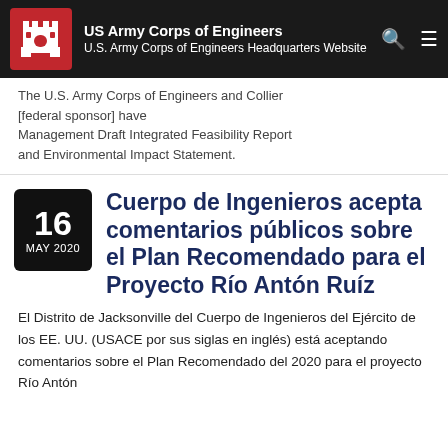[Figure (logo): US Army Corps of Engineers castle logo in white on red background]
US Army Corps of Engineers
U.S. Army Corps of Engineers Headquarters Website
for Collier County study
The U.S. Army Corps of Engineers and Collier [federal sponsor] have [released the] Management Draft Integrated Feasibility Report and Environmental Impact Statement.
Cuerpo de Ingenieros acepta comentarios públicos sobre el Plan Recomendado para el Proyecto Río Antón Ruíz
El Distrito de Jacksonville del Cuerpo de Ingenieros del Ejército de los EE. UU. (USACE por sus siglas en inglés) está aceptando comentarios sobre el Plan Recomendado del 2020 para el proyecto Río Antón